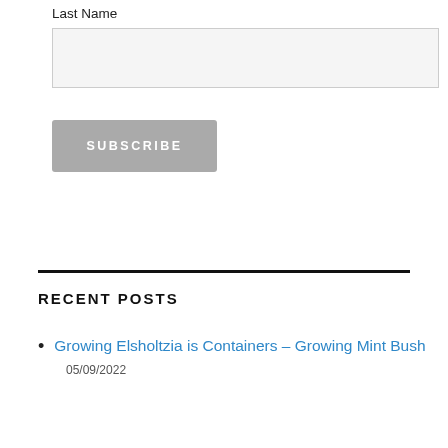Last Name
[input box]
SUBSCRIBE
RECENT POSTS
Growing Elsholtzia is Containers – Growing Mint Bush
05/09/2022